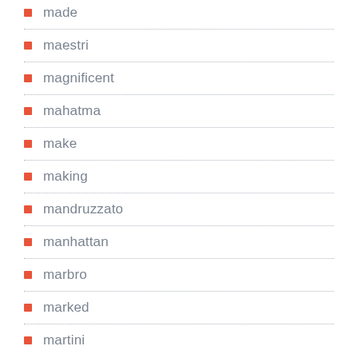made
maestri
magnificent
mahatma
make
making
mandruzzato
manhattan
marbro
marked
martini